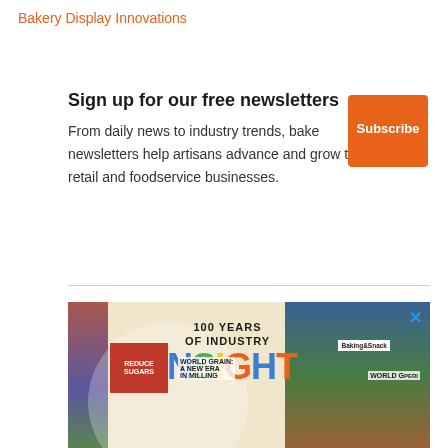Bakery Display Innovations
Sign up for our free newsletters
From daily news to industry trends, bake newsletters help artisans advance and grow their retail and foodservice businesses.
[Figure (illustration): Orange square Subscribe button]
[Figure (advertisement): 100 Years of Industry INSIGHT advertisement with colorful magazine collage background featuring Baking & Snack and World Grain magazine covers, with REDUCE SUGARS highlighted. The word INSIGHT is displayed in large multicolored letters.]